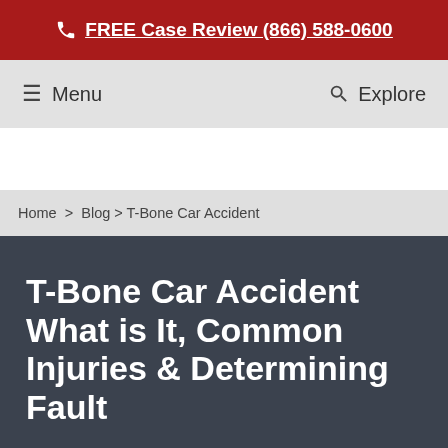FREE Case Review (866) 588-0600
Menu   Explore
Home > Blog > T-Bone Car Accident
T-Bone Car Accident What is It, Common Injuries & Determining Fault